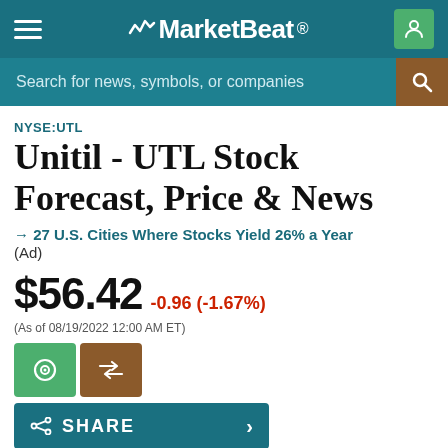MarketBeat
Search for news, symbols, or companies
NYSE:UTL
Unitil - UTL Stock Forecast, Price & News
→ 27 U.S. Cities Where Stocks Yield 26% a Year (Ad)
$56.42 -0.96 (-1.67%) (As of 08/19/2022 12:00 AM ET)
Today's Range $56.05 $57.82